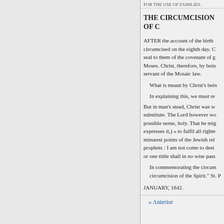FOR THE USE OF FAMILIES.
THE CIRCUMCISION OF C
AFTER the account of the birth circumcised on the eighth day. C seal to them of the covenant of g Moses. Christ, therefore, by bein servant of the Mosaic law.
What is meant by Christ's bein
In explaining this, we must re But in man's stead, Christ was w substitute. The Lord however wo possible sense, holy. That he mig expresses it,) « to fulfil all righte minutest points of the Jewish rel prophets : I am not come to dest or one tittle shall in no wise pass
In commemorating the circum circumcision of the Spirit." St. P
JANUARY, 1842.
« Anterior